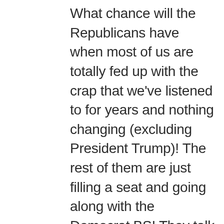What chance will the Republicans have when most of us are totally fed up with the crap that we've listened to for years and nothing changing (excluding President Trump)! The rest of them are just filling a seat and going along with the Democrat BS! They talk a good line when in front of the cameras, but go along with the Dems behind closed doors and to hell with their constituents! What good will the Republican Party be when 2/3 of us will not vote for another Republican candidate? I'll vote Democrat just to remove these